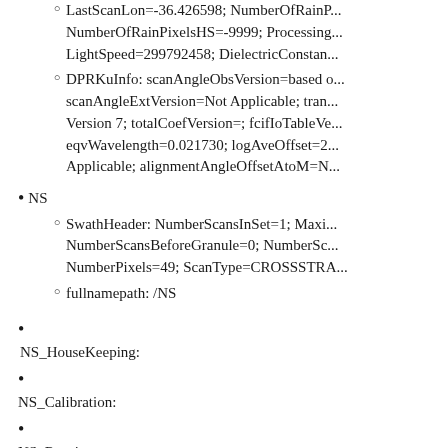LastScanLon=-36.426598; NumberOfRainPixels=...; NumberOfRainPixelsHS=-9999; Processing...; LightSpeed=299792458; DielectricConstan...
DPRKuInfo: scanAngleObsVersion=based ...; scanAngleExtVersion=Not Applicable; tran...; Version 7; totalCoefVersion=; fcifIoTableVe...; eqvWavelength=0.021730; logAveOffset=2...; Applicable; alignmentAngleOffsetAtoM=N...
NS
SwathHeader: NumberScansInSet=1; Maxi...; NumberScansBeforeGranule=0; NumberSc...; NumberPixels=49; ScanType=CROSSSTRA...
fullnamepath: /NS
NS_HouseKeeping:
NS_Calibration:
NS_Receiver:
NS_ScanTime:
NS_rayPointing: